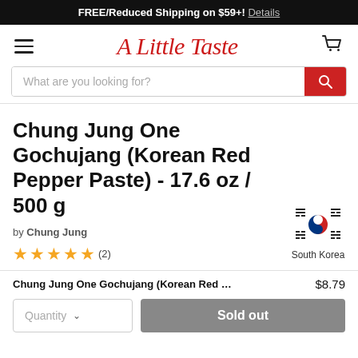FREE/Reduced Shipping on $59+! Details
[Figure (logo): A Little Taste script logo in red italic]
[Figure (illustration): Search bar with red search button]
Chung Jung One Gochujang (Korean Red Pepper Paste) - 17.6 oz / 500 g
by Chung Jung
[Figure (illustration): Five gold stars rating with (2) reviews]
[Figure (illustration): South Korea flag icon with label 'South Korea']
Chung Jung One Gochujang (Korean Red Pe...  $8.79
[Figure (illustration): Quantity dropdown and Sold out button]